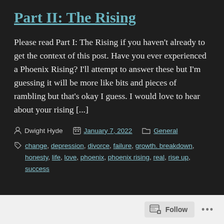Part II: The Rising
Please read Part I: The Rising if you haven't already to get the context of this post. Have you ever experienced a Phoenix Rising? I'll attempt to answer these but I'm guessing it will be more like bits and pieces of rambling but that's okay I guess. I would love to hear about your rising [...]
Dwight Hyde  January 7, 2022  General
change, depression, divorce, failure, growth. breakdown, honesty, life, love, phoenix, phoenix rising, real, rise up, success
Follow ...